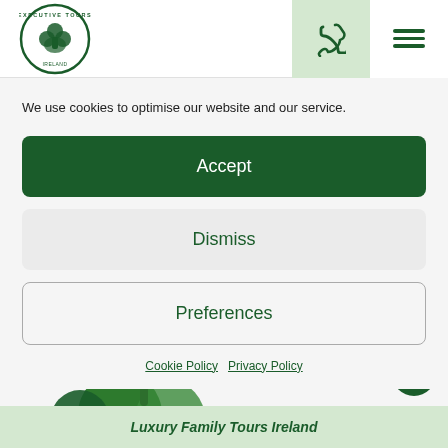[Figure (logo): Executive Tours Ireland circular logo with shamrock and eagle design in green and white]
[Figure (other): Phone icon (handset) in dark green on light green background]
[Figure (other): Hamburger menu icon — three dark green horizontal lines]
We use cookies to optimise our website and our service.
Accept
Dismiss
Preferences
Cookie Policy   Privacy Policy
[Figure (photo): Partial view of green clover/shamrock leaves at bottom of page]
[Figure (logo): TripAdvisor owl logo in white on dark green circular button]
Luxury Family Tours Ireland